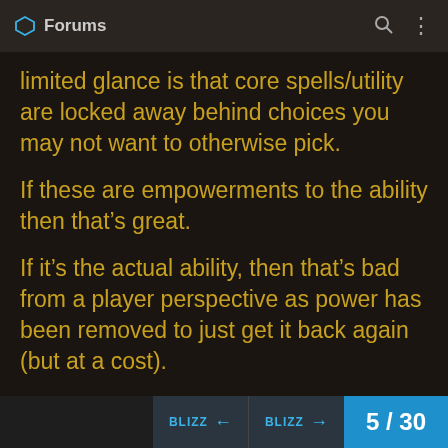Forums
limited glance is that core spells/utility are locked away behind choices you may not want to otherwise pick.
If these are empowerments to the ability then that’s great.
If it’s the actual ability, then that’s bad from a player perspective as power has been removed to just get it back again (but at a cost).
11 ♥ 🔗
Zulzara  8 posts  Apr 19
10 Troll ...  30
BLIZZ ←  BLIZZ →  5 / 30